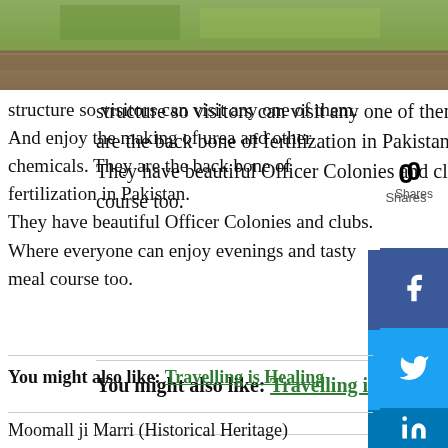[Figure (photo): Landscape photo showing green grass field with brown ground, top portion of page]
structure so visitors can visit any one of them. And enjoy the making of urea and other chemicals. They are the back bone of fertilization in Pakistan.
They have beautiful Officer Colonies and clubs. Where everyone can enjoy evenings and tasty meal course too.
0
Shares
You might also like: Travelling is Healing
Moomall ji Marri (Historical Heritage)
It is
[Figure (photo): Photo of ancient stone tower/ruin surrounded by trees against blue sky — Moomall ji Marri historical site]